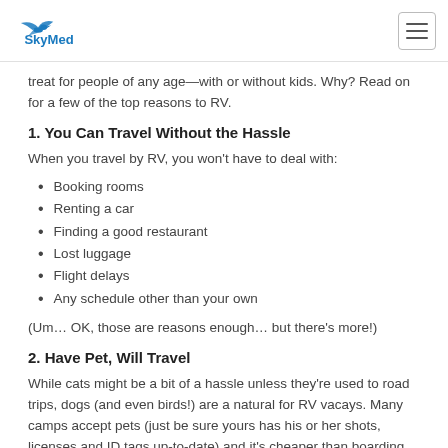SkyMed
treat for people of any age—with or without kids. Why? Read on for a few of the top reasons to RV.
1. You Can Travel Without the Hassle
When you travel by RV, you won't have to deal with:
Booking rooms
Renting a car
Finding a good restaurant
Lost luggage
Flight delays
Any schedule other than your own
(Um… OK, those are reasons enough… but there's more!)
2. Have Pet, Will Travel
While cats might be a bit of a hassle unless they're used to road trips, dogs (and even birds!) are a natural for RV vacays. Many camps accept pets (just be sure yours has his or her shots, licenses and ID tags up-to-date) and it's cheaper than boarding them or worrying about a sitter—not to mention just a bit better for all involved.